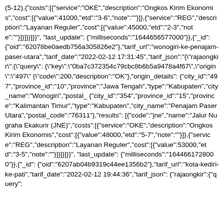(5-12),{"costs":[{"service":"OKE","description":"Ongkos Kirim Ekonomis","cost":[{"value":41000,"etd":"3-6","note":""}]},{"service":"REG","description":"Layanan Reguler","cost":[{"value":45000,"etd":"2-3","note":""}]}]}}]}}","last_update":{"milliseconds":"1644656577000"},{"_id":{"oid":"62078be0aedb756a305826e2"},"tarif_url":"wonogiri-ke-penajam-paser-utara","tarif_date":"2022-02-12 17:31:45","tarif_json":"{\"rajaongkir\":{\"query\":{\"key\":\"0ba7c372354c79cbc8b6b5a9478a4f67\",\"origin\":\"497\"{\"code\":200,\"description\":\"OK\"},\"origin_details\":{\"city_id\":\"497\",\"province_id\":\"10\",\"province\":\"Jawa Tengah\",\"type\":\"Kabupaten\",\"city_name\":\"Wonogiri\",\"postal_{\"city_id\":\"354\",\"province_id\":\"15\",\"province\":\"Kalimantan Timur\",\"type\":\"Kabupaten\",\"city_name\":\"Penajam Paser Utara\",\"postal_code\":\"76311\"},\"results\":[{\"code\":\"jne\",\"name\":\"Jalur Nugraha Ekakurir (JNE)\",\"costs\":[{\"service\":\"OKE\",\"description\":\"Ongkos Kirim Ekonomis\",\"cost\":[{\"value\":48000,\"etd\":\"5-7\",\"note\":\"\"}]},{\"service\":\"REG\",\"description\":\"Layanan Reguler\",\"cost\":[{\"value\":53000,\"etd\":\"3-5\",\"note\":\"\"}]}]}]}}","last_update":{"milliseconds":"1644661728000"},{"_id":{"oid":"6207ab04b9319c44ee1356b2"},"tarif_url":"kota-kediri-ke-pati","tarif_date":"2022-02-12 19:44:36","tarif_json":"{\"rajaongkir\":{\"query\":